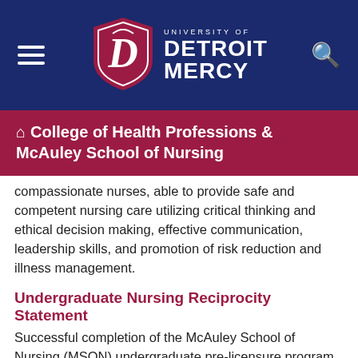University of Detroit Mercy — College of Health Professions & McAuley School of Nursing
College of Health Professions & McAuley School of Nursing
compassionate nurses, able to provide safe and competent nursing care utilizing critical thinking and ethical decision making, effective communication, leadership skills, and promotion of risk reduction and illness management.
Undergraduate Nursing Reciprocity Statement
Successful completion of the McAuley School of Nursing (MSON) undergraduate pre-licensure program at University of Detroit Mercy qualifies the graduate to take the National Council Licensure Examination-Registered Nurse (NCLEX-RN®) in Michigan. Graduates who plan to practice in Michigan may find more information on licensure from the Michigan Department of Licensing and Regulatory Affairs (LARA):